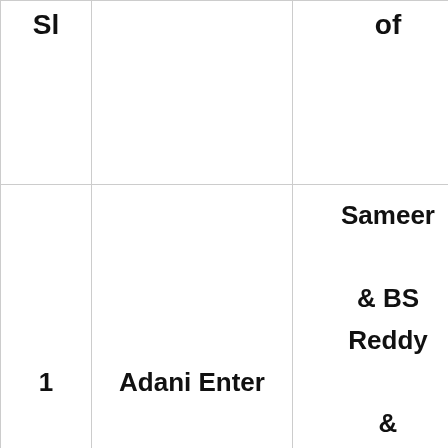| Sl |  | of | in Rs | Rs ye |
| --- | --- | --- | --- | --- |
| 1 | Adani Enter | Sameer

& BS Reddy

&

Ravi Kanth | 661 | 33 |